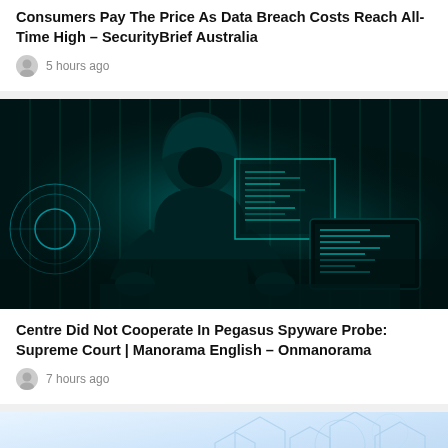Consumers Pay The Price As Data Breach Costs Reach All-Time High – SecurityBrief Australia
5 hours ago
[Figure (photo): Dark cybersecurity themed image showing a hooded hacker figure in front of glowing digital screens with code and data visualizations in teal/cyan tones]
Centre Did Not Cooperate In Pegasus Spyware Probe: Supreme Court | Manorama English – Onmanorama
7 hours ago
[Figure (photo): Light blue technology themed image with hexagonal network pattern]